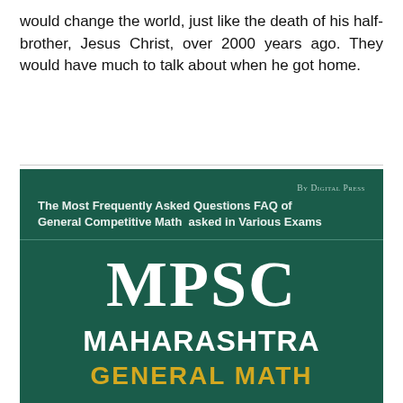would change the world, just like the death of his half-brother, Jesus Christ, over 2000 years ago. They would have much to talk about when he got home.
[Figure (illustration): Book cover with dark teal/green background. Top right: 'BY DIGITAL PRESS' in small caps. Below: subtitle 'The Most Frequently Asked Questions FAQ of General Competitive Math asked in Various Exams'. Large centered text: 'MPSC' in serif font, 'MAHARASHTRA' in bold sans-serif, and partially visible 'GENERAL MATH' in gold/yellow at the bottom.]